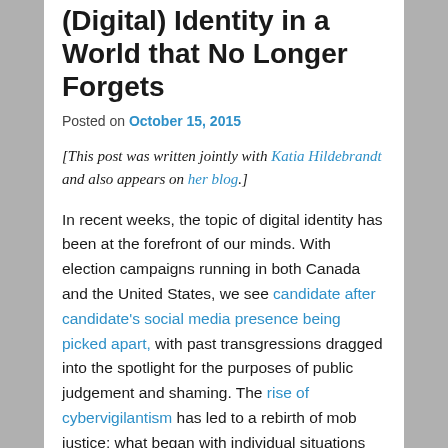(Digital) Identity in a World that No Longer Forgets
Posted on October 15, 2015
[This post was written jointly with Katia Hildebrandt and also appears on her blog.]
In recent weeks, the topic of digital identity has been at the forefront of our minds. With election campaigns running in both Canada and the United States, we see candidate after candidate's social media presence being picked apart, with past transgressions dragged into the spotlight for the purposes of public judgement and shaming. The rise of cybervigilantism has led to a rebirth of mob justice: what began with individual situations like the shaming of Justine Sacco has snowballed into entire sites intended to publicize bad online behaviour with the aim of getting people fired. Meanwhile, as the school year kicks into high gear, we are seeing evidence of the